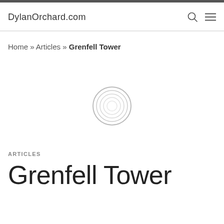DylanOrchard.com
Home » Articles » Grenfell Tower
[Figure (other): Loading spinner / circular loading indicator graphic]
ARTICLES
Grenfell Tower